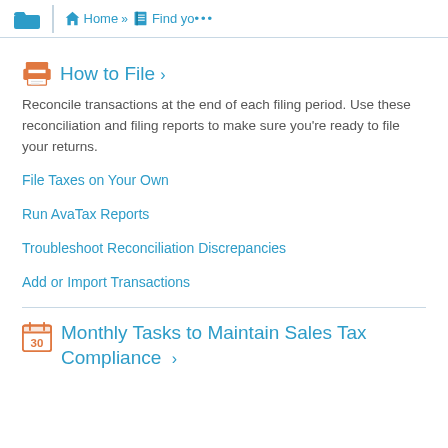Home >> Find yo...
How to File ›
Reconcile transactions at the end of each filing period. Use these reconciliation and filing reports to make sure you're ready to file your returns.
File Taxes on Your Own
Run AvaTax Reports
Troubleshoot Reconciliation Discrepancies
Add or Import Transactions
Monthly Tasks to Maintain Sales Tax Compliance ›